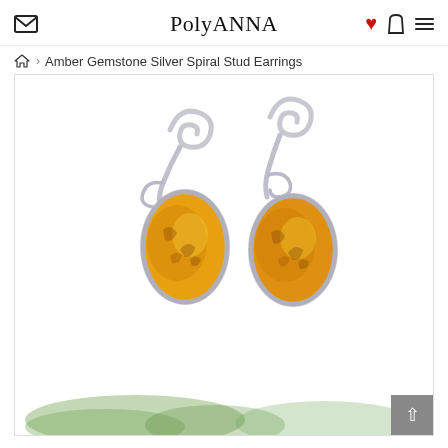Polyanna — navigation header with email, heart, bag, and menu icons
Amber Gemstone Silver Spiral Stud Earrings
[Figure (photo): Product photo of two amber gemstone silver spiral stud earrings with orange oval amber stones set in silver swirl settings, displayed on a white background with a blurred green plant decoration at the bottom.]